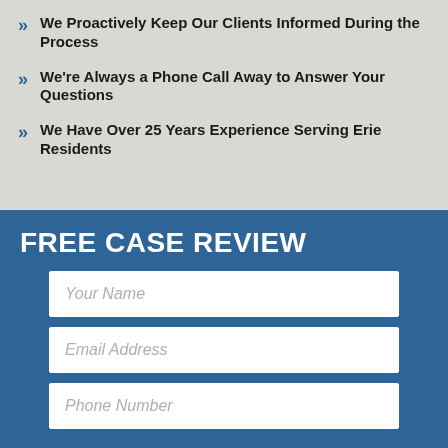We Proactively Keep Our Clients Informed During the Process
We're Always a Phone Call Away to Answer Your Questions
We Have Over 25 Years Experience Serving Erie Residents
FREE CASE REVIEW
Your Name
Email Address
Phone Number